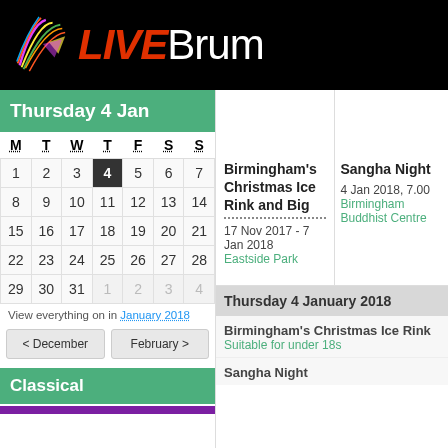[Figure (logo): LIVEBrum logo with colorful icon and text on black background]
Thursday 4 Jan
| M | T | W | T | F | S | S |
| --- | --- | --- | --- | --- | --- | --- |
| 1 | 2 | 3 | 4 | 5 | 6 | 7 |
| 8 | 9 | 10 | 11 | 12 | 13 | 14 |
| 15 | 16 | 17 | 18 | 19 | 20 | 21 |
| 22 | 23 | 24 | 25 | 26 | 27 | 28 |
| 29 | 30 | 31 | 1 | 2 | 3 | 4 |
View everything on in January 2018
< December
February >
Classical
Birmingham's Christmas Ice Rink and Big
17 Nov 2017 - 7 Jan 2018
Eastside Park
Sangha Night
4 Jan 2018, 7.00
Birmingham Buddhist Centre
Thursday 4 January 2018
Birmingham's Christmas Ice Rink
Suitable for under 18s
Sangha Night